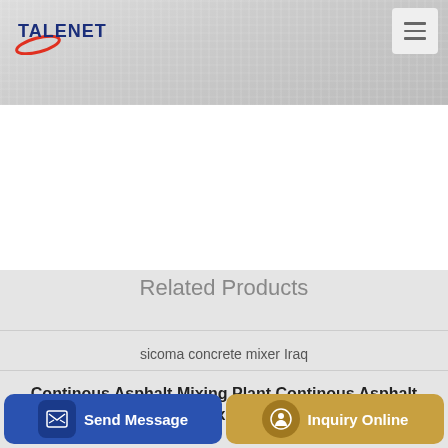TALENET
[Figure (screenshot): Talenet logo with red swoosh and hamburger menu icon in top navigation bar]
[Figure (photo): Light gray/white textured background banner area]
Related Products
sicoma concrete mixer Iraq
Continous Asphalt Mixing Plant Continous Asphalt Mixing
batch
Send Message
Inquiry Online